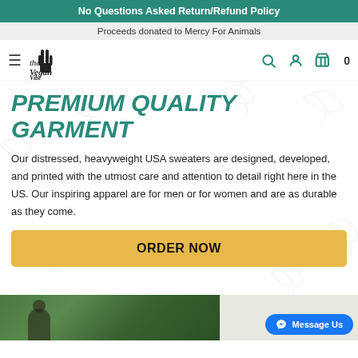No Questions Asked Return/Refund Policy
Proceeds donated to Mercy For Animals
The Vegan Vibe — navigation bar with logo, hamburger menu, search, account, and cart (0)
PREMIUM QUALITY GARMENT
Our distressed, heavyweight USA sweaters are designed, developed, and printed with the utmost care and attention to detail right here in the US. Our inspiring apparel are for men or for women and are as durable as they come.
ORDER NOW
[Figure (photo): Bottom strip showing a partial photo of a person outdoors in greenery, and a blue Messenger 'Message Us' button in the lower right corner]